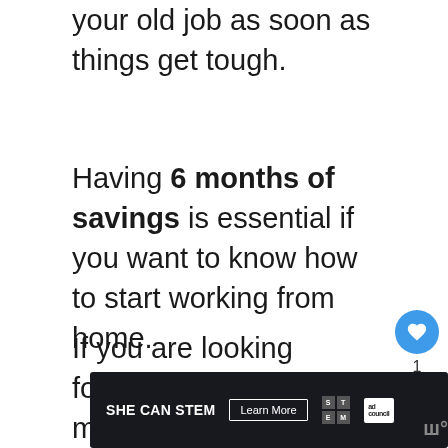your old job as soon as things get tough.
Having 6 months of savings is essential if you want to know how to start working from home.
If you are looking for ways to save make and extra money, read these articles:
[Figure (screenshot): SHE CAN STEM advertisement banner with 'Learn More' button, STEM logo grid, Ad Council logo, and partial logo at right edge.]